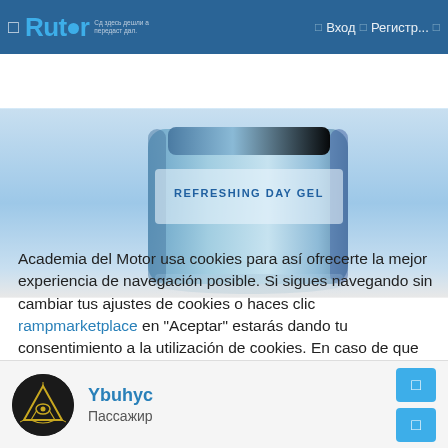Rutor | Вход | Регистр...
[Figure (photo): A blue skincare product container labeled 'REFRESHING DAY GEL' on a light blue gradient background]
Academia del Motor usa cookies para así ofrecerte la mejor experiencia de navegación posible. Si sigues navegando sin cambiar tus ajustes de cookies o haces clic rampmarketplace en "Aceptar" estarás dando tu consentimiento a la utilización de cookies. En caso de que no las aceptes, nuestro contenido podría sufrir variaciones сайт y se podrá tener una mala experiencia en la web. Puedes obtener más información y leer nuestra política de cookies aquí.
Ybuhyc
Пассажир